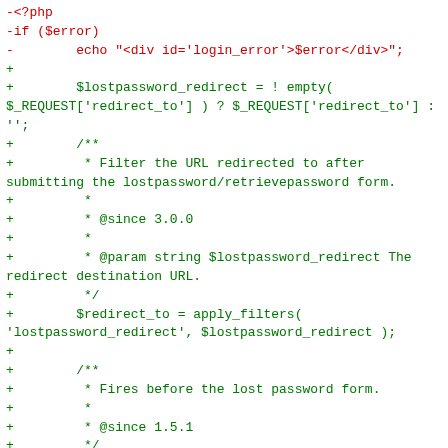Code diff showing PHP changes including removal of login error echo and addition of lostpassword_redirect logic, apply_filters call, JSDoc comments, do_action for lost_password, and login_header call.